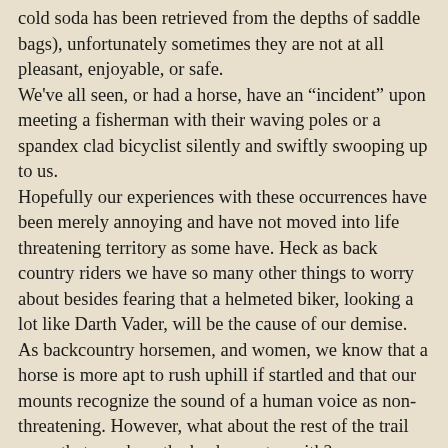cold soda has been retrieved from the depths of saddle bags), unfortunately sometimes they are not at all pleasant, enjoyable, or safe. We've all seen, or had a horse, have an “incident” upon meeting a fisherman with their waving poles or a spandex clad bicyclist silently and swiftly swooping up to us. Hopefully our experiences with these occurrences have been merely annoying and have not moved into life threatening territory as some have. Heck as back country riders we have so many other things to worry about besides fearing that a helmeted biker, looking a lot like Darth Vader, will be the cause of our demise. As backcountry horsemen, and women, we know that a horse is more apt to rush uphill if startled and that our mounts recognize the sound of a human voice as non-threatening. However, what about the rest of the trail users that we share the back country with? We’ve been blessed with having a close connection with livestock. Most hikers and bicyclists haven’t had the benefit of the rich lives that we lead. Not only does the average trail walker, or roller in the case of bicycles, not have a clue about how to safely interact with equestrians, they are intimidated by... The voice appears to be a hint...